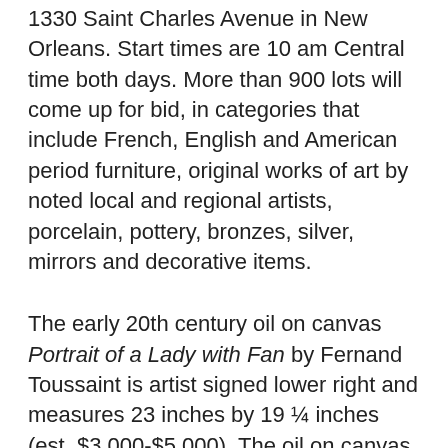1330 Saint Charles Avenue in New Orleans. Start times are 10 am Central time both days. More than 900 lots will come up for bid, in categories that include French, English and American period furniture, original works of art by noted local and regional artists, porcelain, pottery, bronzes, silver, mirrors and decorative items.
The early 20th century oil on canvas Portrait of a Lady with Fan by Fernand Toussaint is artist signed lower right and measures 23 inches by 19 ¼ inches (est. $3,000-$5,000). The oil on canvas depiction of Notre Dame by Andre Gisson (a pseudonym; his real name is Anders Gittelson), is signed lower right and measures 17 ½ inches by 23 ½ inches (est. $1,000-$2,000).